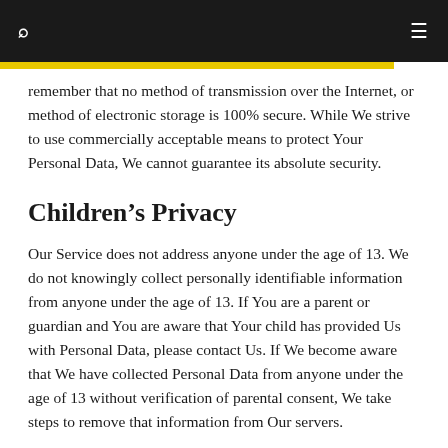🔍  ≡
remember that no method of transmission over the Internet, or method of electronic storage is 100% secure. While We strive to use commercially acceptable means to protect Your Personal Data, We cannot guarantee its absolute security.
Children's Privacy
Our Service does not address anyone under the age of 13. We do not knowingly collect personally identifiable information from anyone under the age of 13. If You are a parent or guardian and You are aware that Your child has provided Us with Personal Data, please contact Us. If We become aware that We have collected Personal Data from anyone under the age of 13 without verification of parental consent, We take steps to remove that information from Our servers.